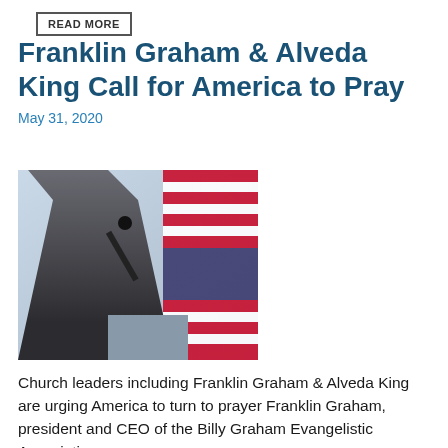READ MORE
Franklin Graham & Alveda King Call for America to Pray
May 31, 2020
[Figure (photo): Franklin Graham standing at a podium with a microphone, head bowed, with an American flag in the background]
Church leaders including Franklin Graham & Alveda King are urging America to turn to prayer Franklin Graham, president and CEO of the Billy Graham Evangelistic Association